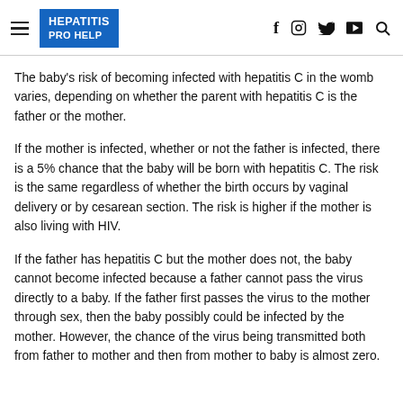HEPATITIS PRO HELP
The baby's risk of becoming infected with hepatitis C in the womb varies, depending on whether the parent with hepatitis C is the father or the mother.
If the mother is infected, whether or not the father is infected, there is a 5% chance that the baby will be born with hepatitis C. The risk is the same regardless of whether the birth occurs by vaginal delivery or by cesarean section. The risk is higher if the mother is also living with HIV.
If the father has hepatitis C but the mother does not, the baby cannot become infected because a father cannot pass the virus directly to a baby. If the father first passes the virus to the mother through sex, then the baby possibly could be infected by the mother. However, the chance of the virus being transmitted both from father to mother and then from mother to baby is almost zero.